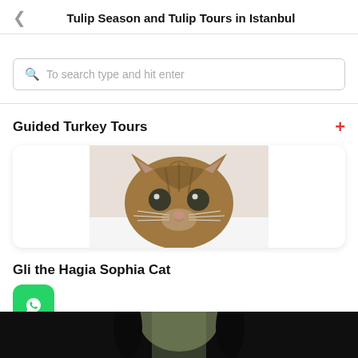Tulip Season and Tulip Tours in Istanbul
To search type and hit enter
Guided Turkey Tours
[Figure (photo): Close-up photo of a tabby cat face staring at the camera with wide green eyes and a light-colored background]
Gli the Hagia Sophia Cat
[Figure (photo): Bottom strip showing a dark outdoor scene with silhouetted figures]